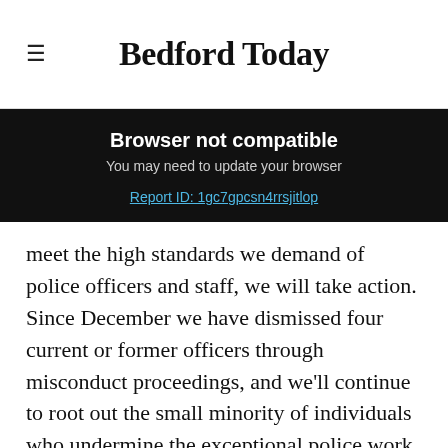Bedford Today
Browser not compatible
You may need to update your browser
Report ID: 1gc7gpcsn4rrsjitlop
meet the high standards we demand of police officers and staff, we will take action. Since December we have dismissed four current or former officers through misconduct proceedings, and we’ll continue to root out the small minority of individuals who undermine the exceptional police work that goes on in Bedfordshire every day."